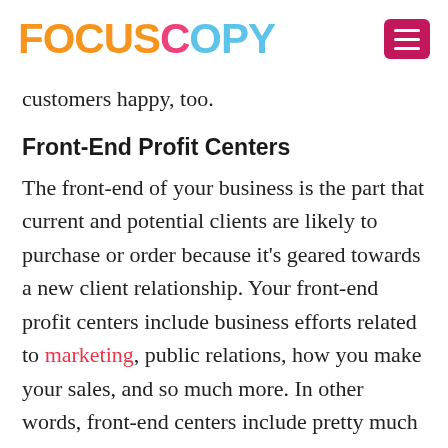FOCUSCOPY
customers happy, too.
Front-End Profit Centers
The front-end of your business is the part that current and potential clients are likely to purchase or order because it's geared towards a new client relationship. Your front-end profit centers include business efforts related to marketing, public relations, how you make your sales, and so much more. In other words, front-end centers include pretty much anything that attracts clients to your company.